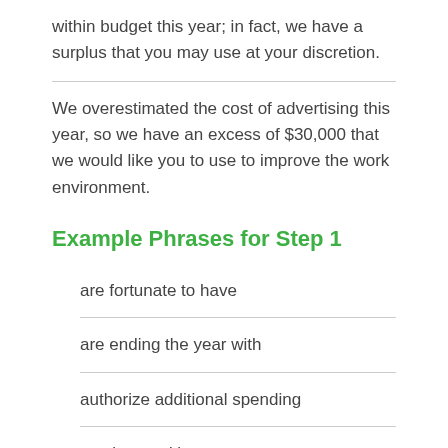within budget this year; in fact, we have a surplus that you may use at your discretion.
We overestimated the cost of advertising this year, so we have an excess of $30,000 that we would like you to use to improve the work environment.
Example Phrases for Step 1
are fortunate to have
are ending the year with
authorize additional spending
can be used in any way except
diligent efforts have